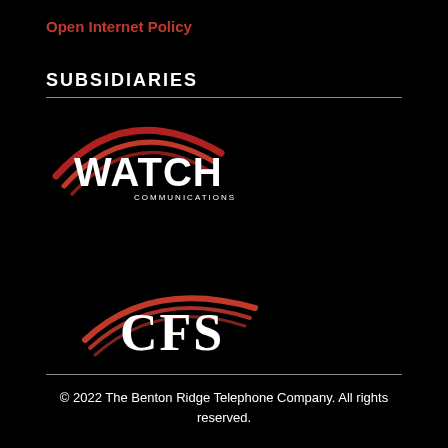Open Internet Policy
SUBSIDIARIES
[Figure (logo): Watch Communications logo — bold white text 'WATCH' with red swoosh/signal arcs and small 'COMMUNICATIONS' text below, on black background]
[Figure (logo): CFS logo — white serif letters 'CFS' with red swoosh arcs, on black background]
© 2022 The Benton Ridge Telephone Company. All rights reserved.